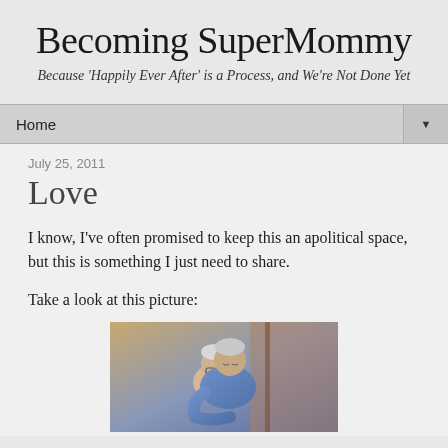Becoming SuperMommy
Because 'Happily Ever After' is a Process, and We're Not Done Yet
Home
July 25, 2011
Love
I know, I've often promised to keep this an apolitical space, but this is something I just need to share.
Take a look at this picture:
[Figure (photo): Two elderly people embracing, one leaning over the other in a warm hug, photographed indoors]